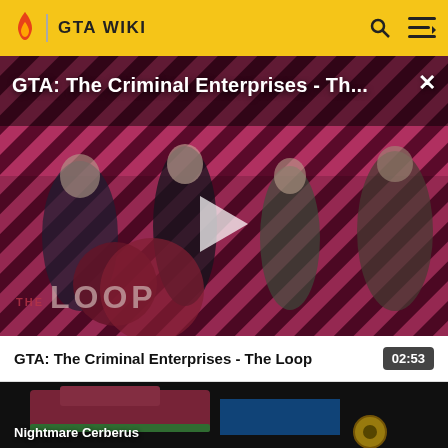GTA WIKI
[Figure (screenshot): GTA: The Criminal Enterprises - The Loop video thumbnail with characters on diagonal red/purple striped background, play button overlay, and The Loop logo]
GTA: The Criminal Enterprises - Th...
GTA: The Criminal Enterprises - The Loop  02:53
[Figure (screenshot): Second video thumbnail showing Nightmare Cerberus vehicle in dark colorful scene]